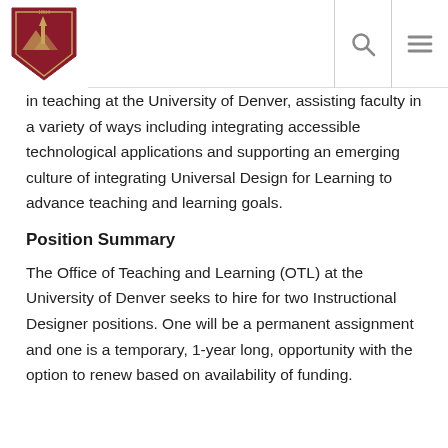University of Denver - header with logo, search, and menu icons
in teaching at the University of Denver, assisting faculty in a variety of ways including integrating accessible technological applications and supporting an emerging culture of integrating Universal Design for Learning to advance teaching and learning goals.
Position Summary
The Office of Teaching and Learning (OTL) at the University of Denver seeks to hire for two Instructional Designer positions. One will be a permanent assignment and one is a temporary, 1-year long, opportunity with the option to renew based on availability of funding.